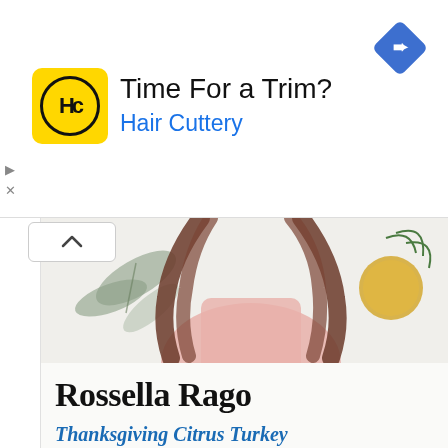[Figure (infographic): Hair Cuttery advertisement banner. Yellow square logo with HC letters in circle, bold text 'Time For a Trim?' and blue text 'Hair Cuttery'. Blue diamond navigation icon on right. Ad controls (play and X) on left edge.]
[Figure (illustration): Partial illustration showing a woman with long brown curly hair wearing a pink apron, with decorative botanical elements including leaves and a lemon/citrus fruit on the right side.]
Rossella Rago
Thanksgiving Citrus Turkey
As a first-generation Italian American,